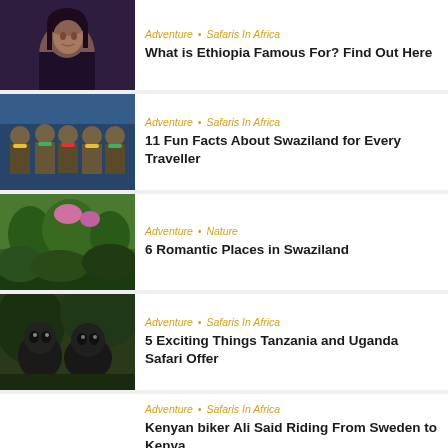[Figure (photo): Woman smiling at event, crowd in background]
Adventure • Safaris In Africa
What is Ethiopia Famous For? Find Out Here
[Figure (photo): Group of traditionally dressed African women seated]
Adventure • Safaris In Africa
11 Fun Facts About Swaziland for Every Traveller
[Figure (photo): Lush green landscape with trees and pink flowers]
Adventure • Nature
6 Romantic Places in Swaziland
[Figure (photo): Two gorillas in jungle setting]
Adventure • Safaris In Africa
5 Exciting Things Tanzania and Uganda Safari Offer
Adventure • Safaris In Africa
Kenyan biker Ali Said Riding From Sweden to Kenya